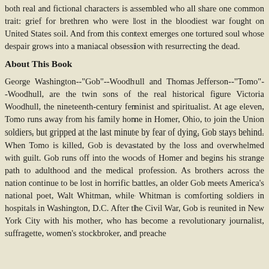both real and fictional characters is assembled who all share one common trait: grief for brethren who were lost in the bloodiest war fought on United States soil. And from this context emerges one tortured soul whose despair grows into a maniacal obsession with resurrecting the dead.
About This Book
George Washington--"Gob"--Woodhull and Thomas Jefferson--"Tomo"--Woodhull, are the twin sons of the real historical figure Victoria Woodhull, the nineteenth-century feminist and spiritualist. At age eleven, Tomo runs away from his family home in Homer, Ohio, to join the Union soldiers, but gripped at the last minute by fear of dying, Gob stays behind. When Tomo is killed, Gob is devastated by the loss and overwhelmed with guilt. Gob runs off into the woods of Homer and begins his strange path to adulthood and the medical profession. As brothers across the nation continue to be lost in horrific battles, an older Gob meets America's national poet, Walt Whitman, while Whitman is comforting soldiers in hospitals in Washington, D.C. After the Civil War, Gob is reunited in New York City with his mother, who has become a revolutionary journalist, suffragette, women's stockbroker, and preache